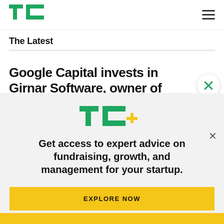TechCrunch - TC logo and hamburger menu
The Latest
Google Capital invests in Girnar Software, owner of
[Figure (logo): TC+ logo with green TC letters and yellow plus sign]
Get access to expert advice on fundraising, growth, and management for your startup.
EXPLORE NOW